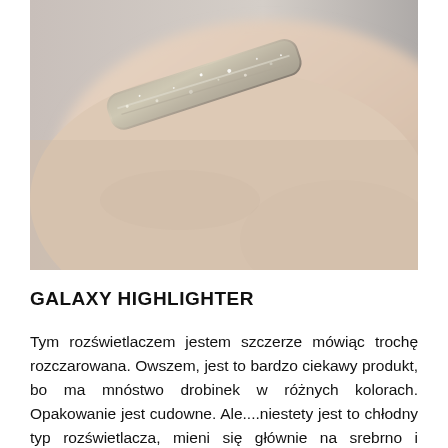[Figure (photo): Close-up photo of a skin swatch showing a glittery metallic/silver product applied diagonally on pale skin, with a blurred grey background.]
GALAXY HIGHLIGHTER
Tym rozświetlaczem jestem szczerze mówiąc trochę rozczarowana. Owszem, jest to bardzo ciekawy produkt, bo ma mnóstwo drobinek w różnych kolorach. Opakowanie jest cudowne. Ale....niestety jest to chłodny typ rozświetlacza, mieni się głównie na srebrno i najbardziej